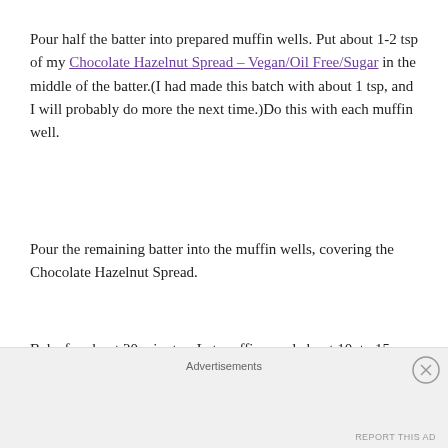Pour half the batter into prepared muffin wells. Put about 1-2 tsp of my Chocolate Hazelnut Spread – Vegan/Oil Free/Sugar in the middle of the batter.(I had made this batch with about 1 tsp, and I will probably do more the next time.)Do this with each muffin well.
Pour the remaining batter into the muffin wells, covering the Chocolate Hazelnut Spread.
Bake for about 20 minutes. Let muffins cool about 10  to 15 minutes in muffin pan. Transfer muffins to cooling rack to finish cooling.
Share. Eat. Enjoy.
Advertisements